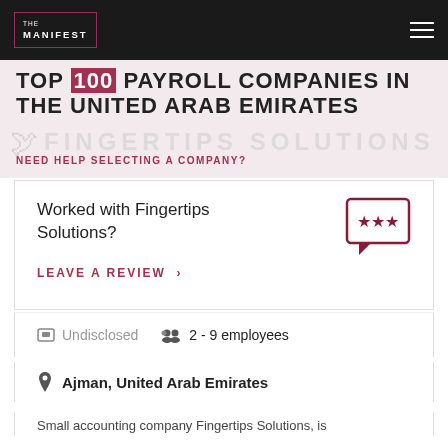[Figure (logo): The Manifest logo — white text in a square border on dark nav bar]
TOP 100 PAYROLL COMPANIES IN THE UNITED ARAB EMIRATES
NEED HELP SELECTING A COMPANY?
Worked with Fingertips Solutions?
LEAVE A REVIEW >
Undisclosed   2 - 9 employees
Ajman, United Arab Emirates
Small accounting company Fingertips Solutions, is